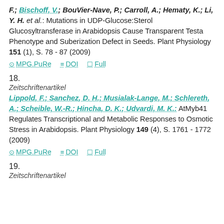F.; Bischoff, V.; BouVier-Nave, P.; Carroll, A.; Hematy, K.; Li, Y. H. et al.: Mutations in UDP-Glucose:Sterol Glucosyltransferase in Arabidopsis Cause Transparent Testa Phenotype and Suberization Defect in Seeds. Plant Physiology 151 (1), S. 78 - 87 (2009)
MPG.PuRe   DOI   Full
18.
Zeitschriftenartikel
Lippold, F.; Sanchez, D. H.; Musialak-Lange, M.; Schlereth, A.; Scheible, W.-R.; Hincha, D. K.; Udvardi, M. K.: AtMyb41 Regulates Transcriptional and Metabolic Responses to Osmotic Stress in Arabidopsis. Plant Physiology 149 (4), S. 1761 - 1772 (2009)
MPG.PuRe   DOI   Full
19.
Zeitschriftenartikel